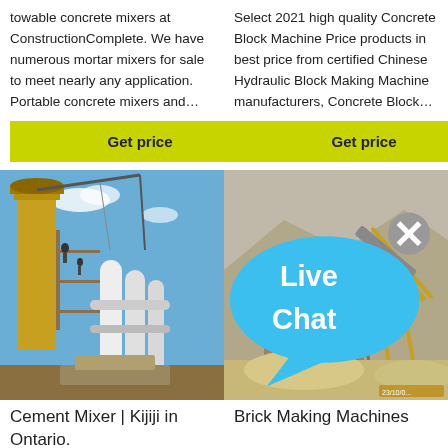towable concrete mixers at ConstructionComplete. We have numerous mortar mixers for sale to meet nearly any application. Portable concrete mixers and...
Get price
Select 2021 high quality Concrete Block Machine Price products in best price from certified Chinese Hydraulic Block Making Machine manufacturers, Concrete Block...
Get price
[Figure (photo): Cement mixer industrial facility with large vertical silos and white piping, workers visible on structure, blue sky background]
[Figure (photo): Brick making machine / quarry equipment with conveyor belts and large industrial structure, sandy terrain background. Live Chat bubble overlay in top right.]
Cement Mixer | Kijiji in Ontario.
Brick Making Machines